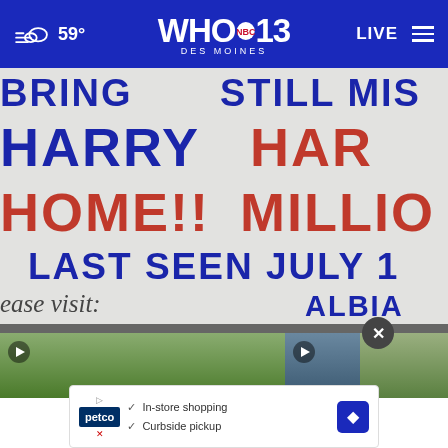59° WHO 13 DES MOINES NBC LIVE
[Figure (photo): Close-up of a missing person banner/sign reading 'BRING HARRY HOME!! STILL MISSING HAR(RY) MILLIO(N) LAST SEEN JULY 1(4) please visit: ALBIA']
Dive team restarts search for Albia man missing for ...
[Figure (screenshot): Advertisement banner for Petco showing 'In-store shopping' and 'Curbside pickup' with navigation arrow icon, overlaid on thumbnail video images]
In-store shopping
Curbside pickup